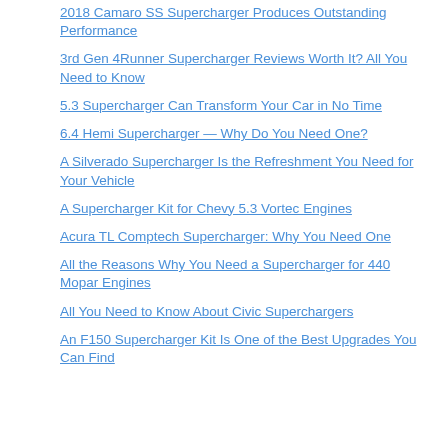2018 Camaro SS Supercharger Produces Outstanding Performance
3rd Gen 4Runner Supercharger Reviews Worth It? All You Need to Know
5.3 Supercharger Can Transform Your Car in No Time
6.4 Hemi Supercharger — Why Do You Need One?
A Silverado Supercharger Is the Refreshment You Need for Your Vehicle
A Supercharger Kit for Chevy 5.3 Vortec Engines
Acura TL Comptech Supercharger: Why You Need One
All the Reasons Why You Need a Supercharger for 440 Mopar Engines
All You Need to Know About Civic Superchargers
An F150 Supercharger Kit Is One of the Best Upgrades You Can Find